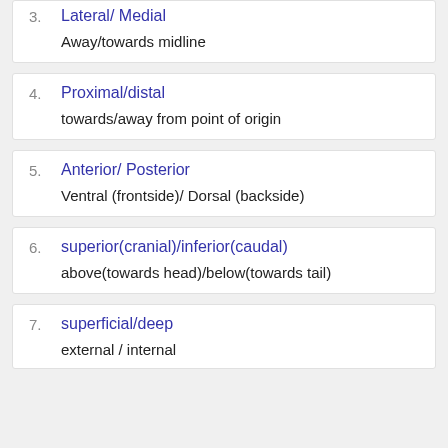3. Lateral/ Medial
Away/towards midline
4. Proximal/distal
towards/away from point of origin
5. Anterior/ Posterior
Ventral (frontside)/ Dorsal (backside)
6. superior(cranial)/inferior(caudal)
above(towards head)/below(towards tail)
7. superficial/deep
external / internal